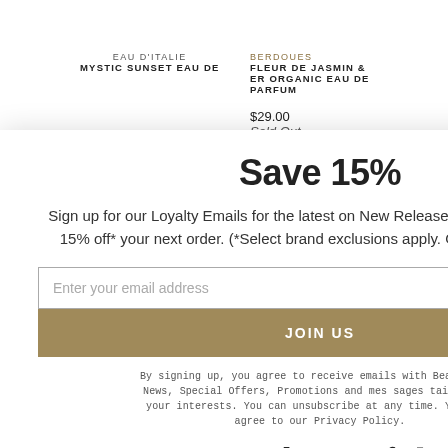EAU D'ITALIE
MYSTIC SUNSET EAU DE
BERDOUES
FLEUR DE JASMIN &
ER ORGANIC EAU DE
PARFUM
$29.00
Sold Out
Save 15%
Sign up for our Loyalty Emails for the latest on New Releases, Special Offers, and 15% off* your next order. (*Select brand exclusions apply. One code per order)
Enter your email address
JOIN US
By signing up, you agree to receive emails with Beautyhabit News, Special Offers, Promotions and messages tailored to your interests. You can unsubscribe at any time. You also agree to our Privacy Policy.
Stay beautiful.
get the best
Accept